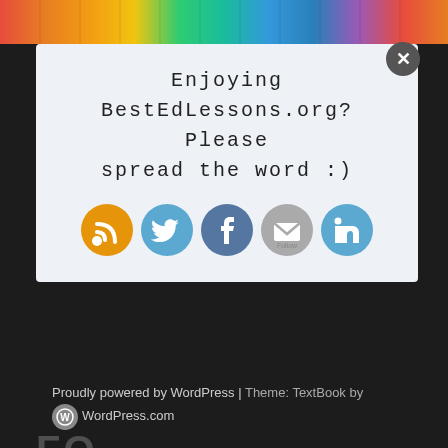[Figure (screenshot): Colorful pencils strip at the top of a website page]
[Figure (screenshot): Popup overlay with social sharing prompt saying: Enjoying BestEdLessons.org? Please spread the word :) with RSS, Twitter, Facebook, Email Follow, and LinkedIn icons]
FO
[Figure (screenshot): Bottom social icons row: RSS (orange), Twitter (blue), Facebook (dark blue), Email/Follow (grey), LinkedIn (blue)]
Proudly powered by WordPress | Theme: TextBook by WordPress.com